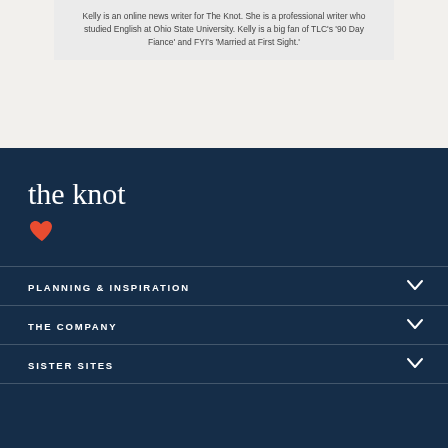Kelly is an online news writer for The Knot. She is a professional writer who studied English at Ohio State University. Kelly is a big fan of TLC's '90 Day Fiance' and FYI's 'Married at First Sight.'
[Figure (logo): The Knot logo in white script text with a red heart icon below, on dark navy background]
PLANNING & INSPIRATION
THE COMPANY
SISTER SITES